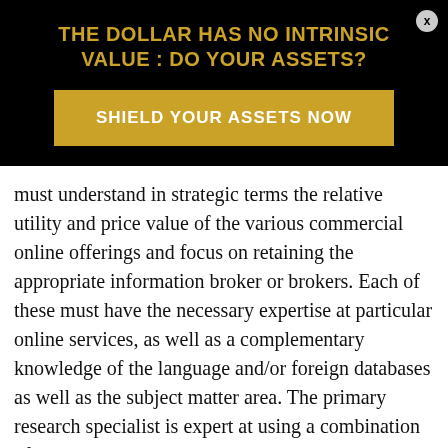THE DOLLAR HAS NO INTRINSIC VALUE : DO YOUR ASSETS?
SHIELD YOUR ASSETS NOW
must understand in strategic terms the relative utility and price value of the various commercial online offerings and focus on retaining the appropriate information broker or brokers. Each of these must have the necessary expertise at particular online services, as well as a complementary knowledge of the language and/or foreign databases as well as the subject matter area. The primary research specialist is expert at using a combination of citation analysis, association with other directories, and direct calling. Their task is to rapidly get answers to questions which require either access to "gray literature" that is legally available but only if you know where to go for it, or to a human expert who can construct the answer in real time by drawing on their historical knowledge